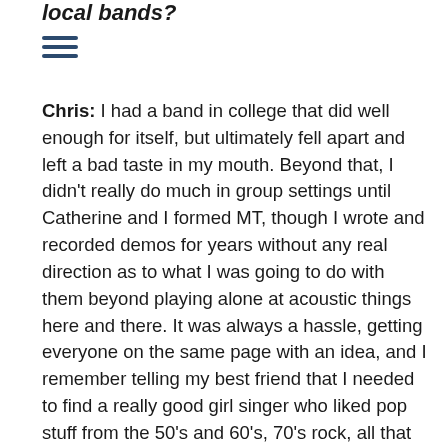local bands?
Chris: I had a band in college that did well enough for itself, but ultimately fell apart and left a bad taste in my mouth. Beyond that, I didn't really do much in group settings until Catherine and I formed MT, though I wrote and recorded demos for years without any real direction as to what I was going to do with them beyond playing alone at acoustic things here and there. It was always a hassle, getting everyone on the same page with an idea, and I remember telling my best friend that I needed to find a really good girl singer who liked pop stuff from the 50's and 60's, 70's rock, all that stuff, that I can also trade off lead vocals with. It wasn't even a month later that I met Catherine. Mysterious ways and all that, I